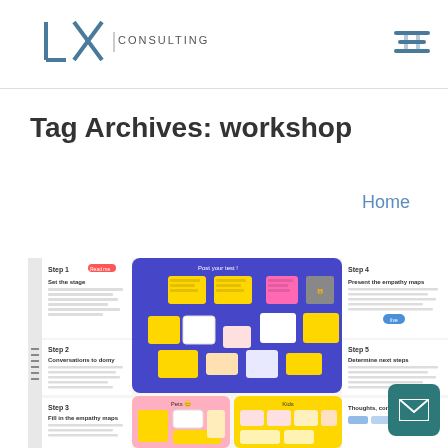[Figure (logo): UX Consulting logo with stylized U and X letters and 'CONSULTING' text]
[Figure (other): Hamburger/menu icon in teal/blue color]
Tag Archives: workshop
Home
[Figure (screenshot): Screenshot of a UX workshop tool interface showing steps 1-5, sticky notes on a blue board, empathy map, and other workshop elements]